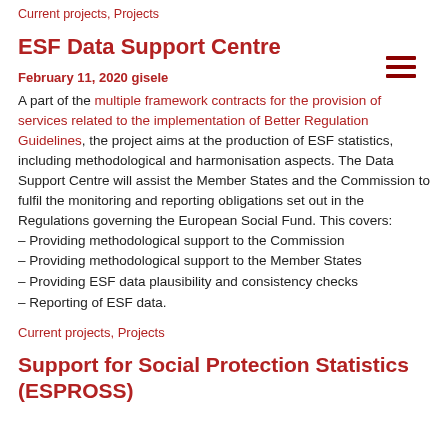Current projects, Projects
ESF Data Support Centre
February 11, 2020 gisele
A part of the multiple framework contracts for the provision of services related to the implementation of Better Regulation Guidelines, the project aims at the production of ESF statistics, including methodological and harmonisation aspects. The Data Support Centre will assist the Member States and the Commission to fulfil the monitoring and reporting obligations set out in the Regulations governing the European Social Fund. This covers:
– Providing methodological support to the Commission
– Providing methodological support to the Member States
– Providing ESF data plausibility and consistency checks
– Reporting of ESF data.
Current projects, Projects
Support for Social Protection Statistics (ESPROSS)